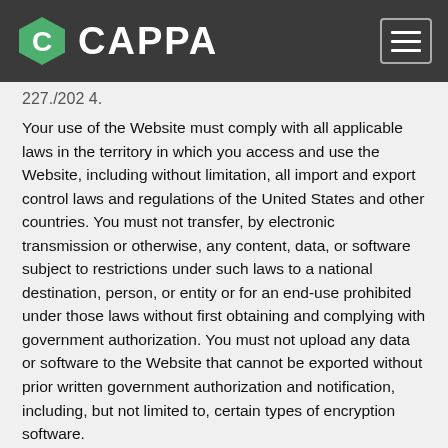CAPPA
227./202 4.
Your use of the Website must comply with all applicable laws in the territory in which you access and use the Website, including without limitation, all import and export control laws and regulations of the United States and other countries. You must not transfer, by electronic transmission or otherwise, any content, data, or software subject to restrictions under such laws to a national destination, person, or entity or for an end-use prohibited under those laws without first obtaining and complying with government authorization. You must not upload any data or software to the Website that cannot be exported without prior written government authorization and notification, including, but not limited to, certain types of encryption software.
Miscellaneous